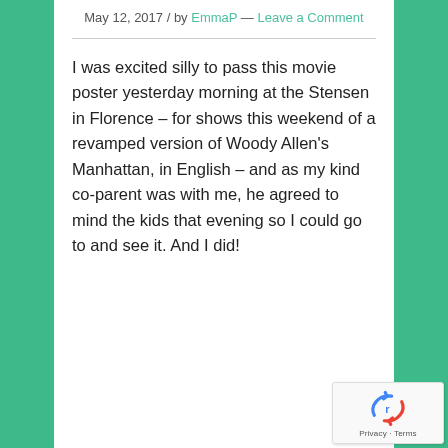May 12, 2017 / by EmmaP — Leave a Comment
I was excited silly to pass this movie poster yesterday morning at the Stensen in Florence – for shows this weekend of a revamped version of Woody Allen's Manhattan, in English – and as my kind co-parent was with me, he agreed to mind the kids that evening so I could go to and see it. And I did!